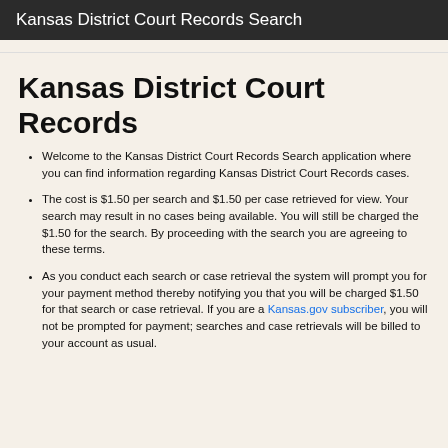Kansas District Court Records Search
Kansas District Court Records
Welcome to the Kansas District Court Records Search application where you can find information regarding Kansas District Court Records cases.
The cost is $1.50 per search and $1.50 per case retrieved for view. Your search may result in no cases being available. You will still be charged the $1.50 for the search. By proceeding with the search you are agreeing to these terms.
As you conduct each search or case retrieval the system will prompt you for your payment method thereby notifying you that you will be charged $1.50 for that search or case retrieval. If you are a Kansas.gov subscriber, you will not be prompted for payment; searches and case retrievals will be billed to your account as usual.